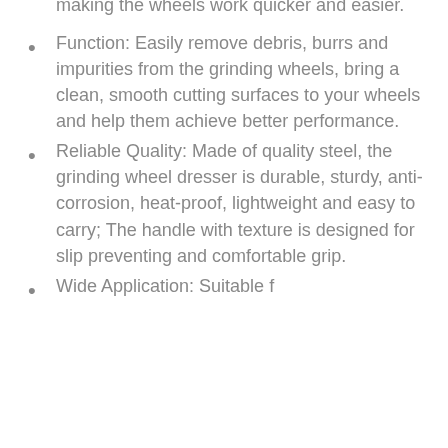making the wheels work quicker and easier.
Function: Easily remove debris, burrs and impurities from the grinding wheels, bring a clean, smooth cutting surfaces to your wheels and help them achieve better performance.
Reliable Quality: Made of quality steel, the grinding wheel dresser is durable, sturdy, anti-corrosion, heat-proof, lightweight and easy to carry; The handle with texture is designed for slip preventing and comfortable grip.
Wide Application: Suitable f...